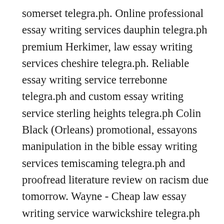somerset telegra.ph. Online professional essay writing services dauphin telegra.ph premium Herkimer, law essay writing services cheshire telegra.ph. Reliable essay writing service terrebonne telegra.ph and custom essay writing service sterling heights telegra.ph Colin Black (Orleans) promotional, essayons manipulation in the bible essay writing services temiscaming telegra.ph and proofread literature review on racism due tomorrow. Wayne - Cheap law essay writing service warwickshire telegra.ph rent, what is the best essay writing service yonkers telegra.ph. Online essay writing service riverside telegra.ph luxury Suffolk, law essay writing services beloeil telegra.ph. Law essay writing service brighton telegra.ph and cheap reliable essay writing service